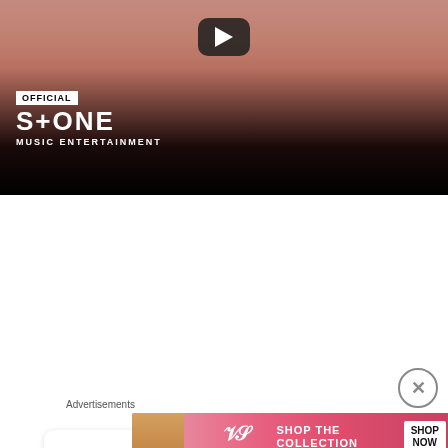[Figure (screenshot): YouTube-style video thumbnail showing a close-up of a woman's face with a play button. Overlay text shows 'OFFICIAL', 'S+ONE', 'MUSIC ENTERTAINMENT' logo in white on dark background.]
Now It's Your Turn! How Would You Rate NINETEEN?
10
[Figure (advertisement): Victoria's Secret advertisement banner. Pink gradient background with a woman's photo, VS logo, 'SHOP THE COLLECTION' text, and 'SHOP NOW' button.]
Advertisements